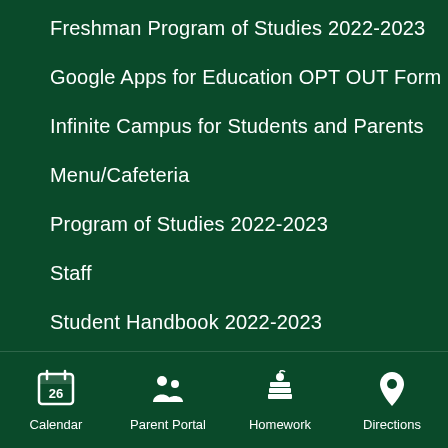Freshman Program of Studies 2022-2023
Google Apps for Education OPT OUT Form
Infinite Campus for Students and Parents
Menu/Cafeteria
Program of Studies 2022-2023
Staff
Student Handbook 2022-2023
Yearbook 2021-2022
Calendar  Parent Portal  Homework  Directions